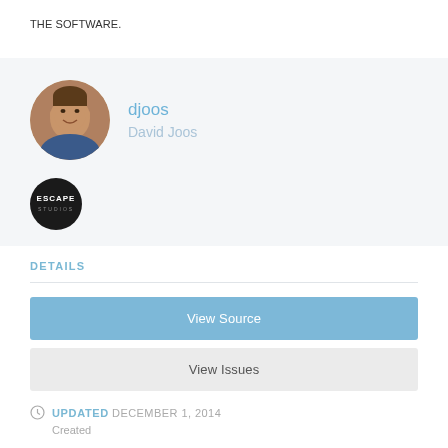THE SOFTWARE.
[Figure (photo): Circular avatar photo of David Joos, a man smiling]
djoos
David Joos
[Figure (logo): Circular black logo with text ESCAPE STUDIOS]
DETAILS
View Source
View Issues
UPDATED DECEMBER 1, 2014
Created